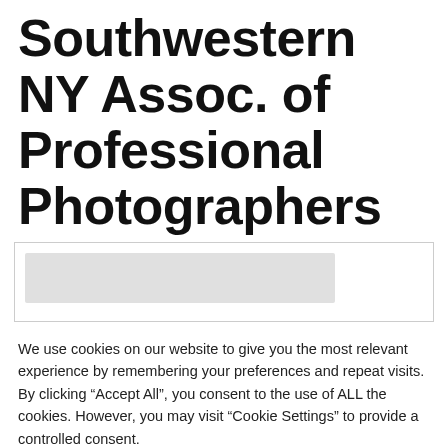Southwestern NY Assoc. of Professional Photographers
[Figure (screenshot): Partial screenshot of a website interface, showing a partially visible input or content area with a grey element inside a bordered box.]
We use cookies on our website to give you the most relevant experience by remembering your preferences and repeat visits. By clicking “Accept All”, you consent to the use of ALL the cookies. However, you may visit “Cookie Settings” to provide a controlled consent.
Cookie Settings
Accept All